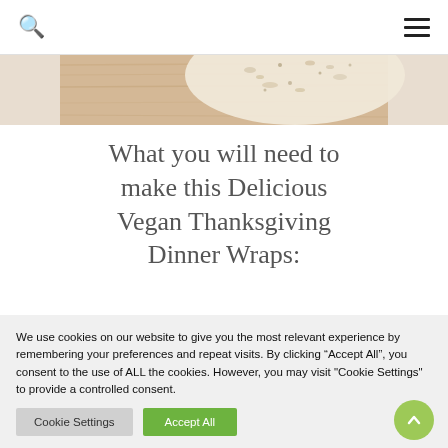Search and menu navigation icons
[Figure (photo): Partial view of a flatbread or tortilla on a wooden surface, cropped]
What you will need to make this Delicious Vegan Thanksgiving Dinner Wraps:
We use cookies on our website to give you the most relevant experience by remembering your preferences and repeat visits. By clicking “Accept All”, you consent to the use of ALL the cookies. However, you may visit "Cookie Settings" to provide a controlled consent.